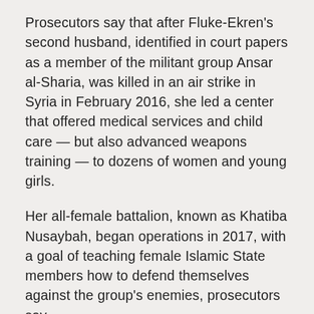Prosecutors say that after Fluke-Ekren's second husband, identified in court papers as a member of the militant group Ansar al-Sharia, was killed in an air strike in Syria in February 2016, she led a center that offered medical services and child care — but also advanced weapons training — to dozens of women and young girls.
Her all-female battalion, known as Khatiba Nusaybah, began operations in 2017, with a goal of teaching female Islamic State members how to defend themselves against the group's enemies, prosecutors say.
According to court documents, she continued her affiliation with the Islamic State until the spring of 2019, when she was smuggled out of IS territory. Fluke-Ekren has said she tried to turn herself in at a local police station last summer because she wanted to leave Syria, and that about two weeks